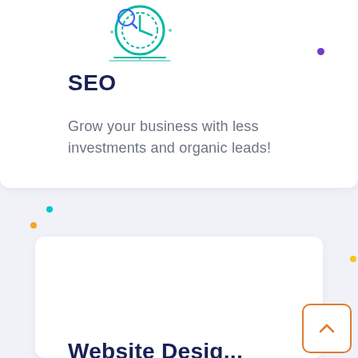[Figure (illustration): SEO illustration with a clock/timer icon and decorative lines in teal/green color]
SEO
Grow your business with less investments and organic leads!
[Figure (other): White card section for next service with decorative colored dots scattered around and a back-to-top navigation button (orange border, chevron up icon)]
Website Design